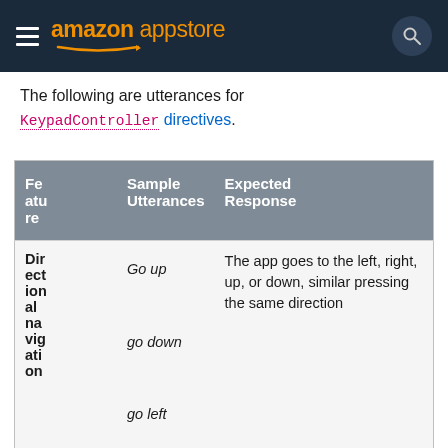amazon appstore
The following are utterances for KeypadController directives.
| Feature | Sample Utterances | Expected Response |
| --- | --- | --- |
| Directional navigation | Go up
go down
go left
go right | The app goes to the left, right, up, or down, similar pressing the same direction |